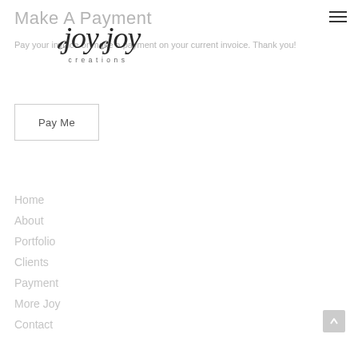Make A Payment
[Figure (logo): Joy Joy Creations decorative script logo with swirls]
Pay your invoice or make a payment on your current invoice. Thank you!
Pay Me
Home
About
Portfolio
Clients
Payment
More Joy
Contact